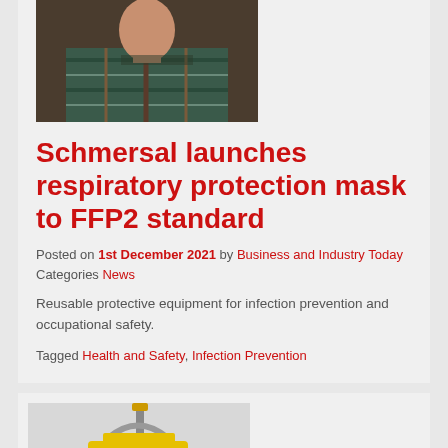[Figure (photo): Photo of a person wearing a plaid/flannel shirt, cropped at chest level]
Schmersal launches respiratory protection mask to FFP2 standard
Posted on 1st December 2021 by Business and Industry Today
Categories News
Reusable protective equipment for infection prevention and occupational safety.
Tagged Health and Safety, Infection Prevention
[Figure (photo): Photo of a yellow portable LED work light/lamp with a handle and adjustable stand]